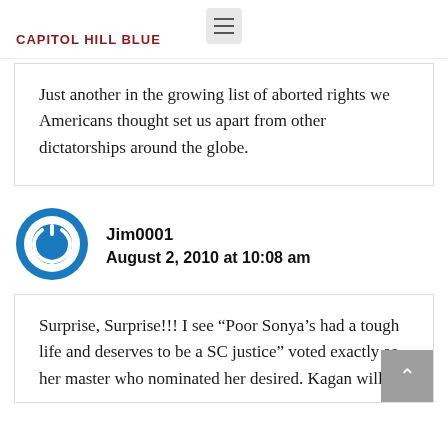CAPITOL HILL BLUE
Just another in the growing list of aborted rights we Americans thought set us apart from other dictatorships around the globe.
Jim0001
August 2, 2010 at 10:08 am
Surprise, Surprise!!! I see “Poor Sonya’s had a tough life and deserves to be a SC justice” voted exactly as her master who nominated her desired. Kagan will be